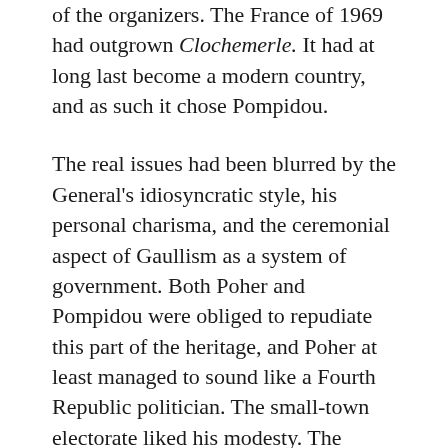of the organizers. The France of 1969 had outgrown Clochemerle. It had at long last become a modern country, and as such it chose Pompidou.
The real issues had been blurred by the General's idiosyncratic style, his personal charisma, and the ceremonial aspect of Gaullism as a system of government. Both Poher and Pompidou were obliged to repudiate this part of the heritage, and Poher at least managed to sound like a Fourth Republic politician. The small-town electorate liked his modesty. The managerial stratum was less enthusiastic. A section of it had been seduced by the technocratic aspect of Gaullism while the others hankered after socialism. With Poher